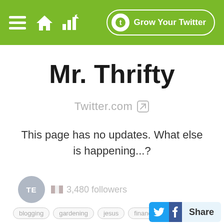Mr. Thrifty — Grow Your Twitter
Mr. Thrifty
Twitter.com →
This page has no updates. What else is happening...?
TE  🇺🇸 3,480 followers
blogging  gardening  jesus  finance  frugality
Share